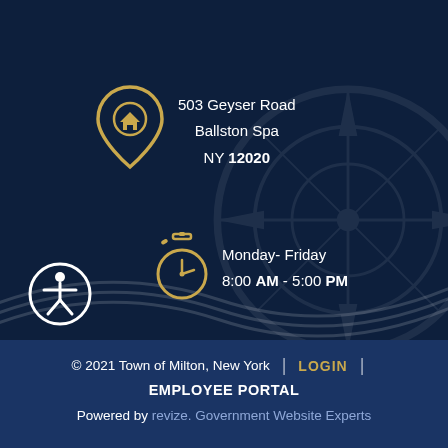[Figure (infographic): Dark navy background with decorative compass/star watermark and wave lines]
503 Geyser Road
Ballston Spa
NY 12020
[Figure (illustration): Gold location pin icon with house symbol inside]
Monday- Friday
8:00 AM - 5:00 PM
[Figure (illustration): Gold stopwatch/timer icon]
[Figure (illustration): White accessibility icon (person in circle)]
© 2021 Town of Milton, New York | LOGIN | EMPLOYEE PORTAL
Powered by revize. Government Website Experts